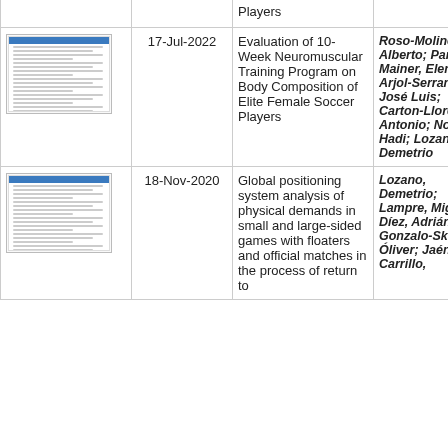| Thumbnail | Date | Title | Authors |
| --- | --- | --- | --- |
| [thumbnail] | 17-Jul-2022 | Evaluation of 10-Week Neuromuscular Training Program on Body Composition of Elite Female Soccer Players | Roso-Moliner, Alberto; Pardos-Mainer, Elena; Arjol-Serrano, José Luis; Carton-Llorente, Antonio; Nobari, Hadi; Lozano, Demetrio |
| [thumbnail] | 18-Nov-2020 | Global positioning system analysis of physical demands in small and large-sided games with floaters and official matches in the process of return to | Lozano, Demetrio; Lampre, Miguel; Díez, Adrián; Gonzalo-Skok, Óliver; Jaén-Carrillo, |